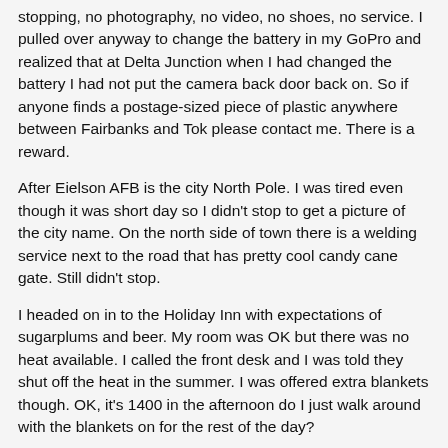stopping, no photography, no video, no shoes, no service. I pulled over anyway to change the battery in my GoPro and realized that at Delta Junction when I had changed the battery I had not put the camera back door back on. So if anyone finds a postage-sized piece of plastic anywhere between Fairbanks and Tok please contact me. There is a reward.
After Eielson AFB is the city North Pole. I was tired even though it was short day so I didn't stop to get a picture of the city name. On the north side of town there is a welding service next to the road that has pretty cool candy cane gate. Still didn't stop.
I headed on in to the Holiday Inn with expectations of sugarplums and beer. My room was OK but there was no heat available. I called the front desk and I was told they shut off the heat in the summer. I was offered extra blankets though. OK, it's 1400 in the afternoon do I just walk around with the blankets on for the rest of the day?
Finally I got maintenance to the room and he confirmed that the heat 'be broke'. He promised to fix it by the next day and offered me a room heater, which I took him up on.
The other issue I had here was the speed of the Internet, which was slower than dialup. I went round and round with the front